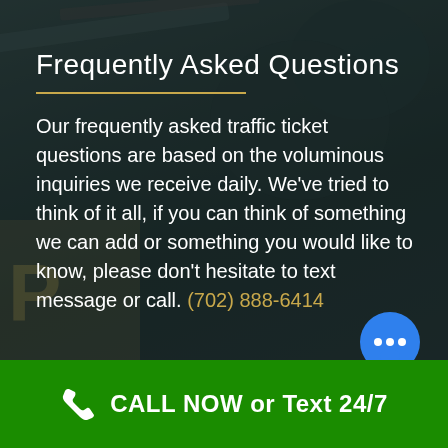Frequently Asked Questions
Our frequently asked traffic ticket questions are based on the voluminous inquiries we receive daily. We've tried to think of it all, if you can think of something we can add or something you would like to know, please don't hesitate to text message or call. (702) 888-6414
[Figure (infographic): Blue speech bubble chat icon with three dots, positioned at bottom right above the footer bar]
CALL NOW or Text 24/7